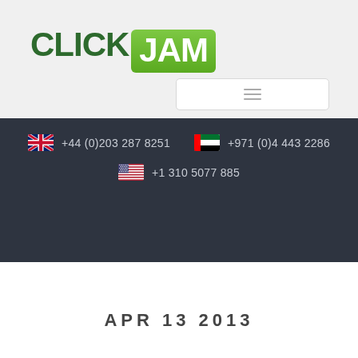[Figure (logo): ClickJam logo with CLICK in dark green bold text and JAM in white bold text on a green rounded rectangle]
[Figure (screenshot): Navigation hamburger menu bar - white rounded rectangle with three horizontal gray lines]
+44 (0)203 287 8251
+971 (0)4 443 2286
+1 310 5077 885
APR 13 2013